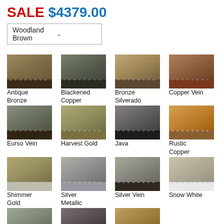SALE $4379.00
Woodland Brown (dropdown)
[Figure (other): Color swatch grid showing 15 finish options: Antique Bronze, Blackened Copper, Bronze Silverado, Copper Vein, Eurso Vein, Harvest Gold, Java, Rustic Copper, Shimmer Gold, Silver Metallic, Silver Vein, Snow White, Stainless Steel, Textured Black, Woodland Brown]
Antique Bronze
Blackened Copper
Bronze Silverado
Copper Vein
Eurso Vein
Harvest Gold
Java
Rustic Copper
Shimmer Gold
Silver Metallic
Silver Vein
Snow White
Stainless Steel
Textured Black
Woodland Brown